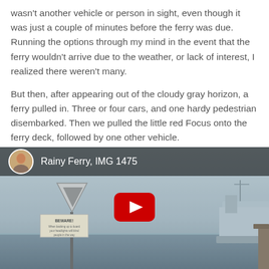wasn't another vehicle or person in sight, even though it was just a couple of minutes before the ferry was due. Running the options through my mind in the event that the ferry wouldn't arrive due to the weather, or lack of interest, I realized there weren't many.
But then, after appearing out of the cloudy gray horizon, a ferry pulled in. Three or four cars, and one hardy pedestrian disembarked. Then we pulled the little red Focus onto the ferry deck, followed by one other vehicle.
[Figure (screenshot): Embedded YouTube video thumbnail showing a rainy ferry scene with a BEWARE warning sign and a ferry vessel in foggy gray conditions. Video title reads 'Rainy Ferry, IMG 1475' with a channel avatar of a man and a red YouTube play button overlay.]